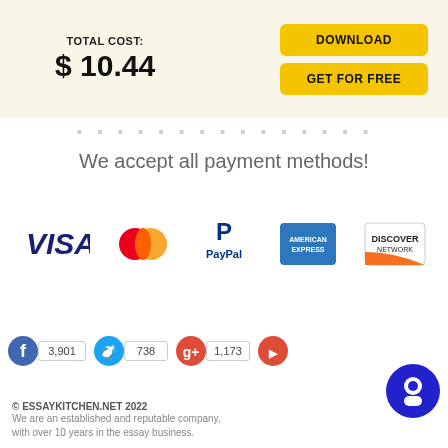TOTAL COST: $ 10.44
DOWNLOAD
GET FOR FREE
We accept all payment methods!
[Figure (logo): Payment method logos: VISA, MasterCard, PayPal, American Express, Discover Network]
[Figure (infographic): Social media counters: Facebook 3,901 | Twitter 738 | Google+ 1,173 | YouTube]
© ESSAYKITCHEN.NET 2022
We are an established and reputable company, with over 10 years in the essay business.